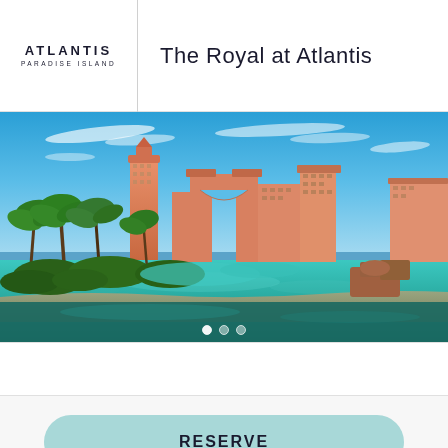[Figure (logo): Atlantis Paradise Island logo — stylized text ATLANTIS in bold uppercase with PARADISE ISLAND below in smaller spaced caps]
The Royal at Atlantis
[Figure (photo): Panoramic photograph of the Atlantis Paradise Island resort complex showing the iconic coral-pink towers with central archway bridge, surrounded by lush tropical palm trees, aqua lagoon pools, and rocky sandy shoreline under a bright blue sky with wispy clouds]
RESERVE